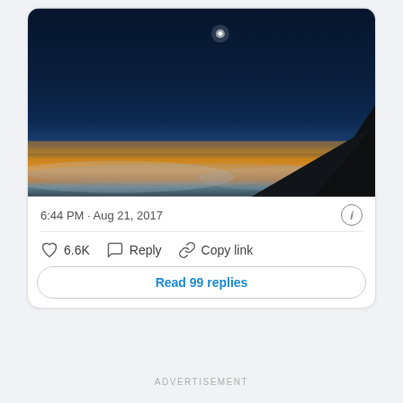[Figure (photo): View from airplane window showing a solar eclipse with airplane wing silhouette against a dramatic sunset sky with orange horizon band and clouds below]
6:44 PM · Aug 21, 2017
♡ 6.6K   Reply   Copy link
Read 99 replies
ADVERTISEMENT